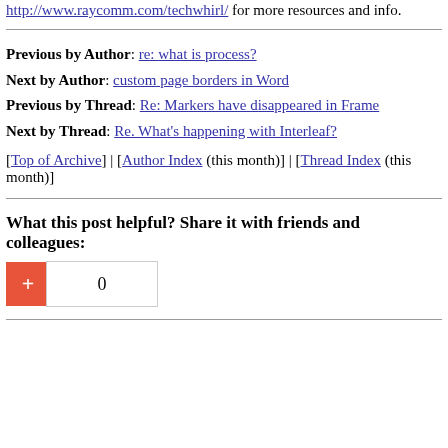http://www.raycomm.com/techwhirl/ for more resources and info.
Previous by Author: re: what is process?
Next by Author: custom page borders in Word
Previous by Thread: Re: Markers have disappeared in Frame
Next by Thread: Re. What's happening with Interleaf?
[Top of Archive] | [Author Index (this month)] | [Thread Index (this month)]
What this post helpful? Share it with friends and colleagues:
[Figure (other): Google +1 button showing a red plus button and a count box showing 0]